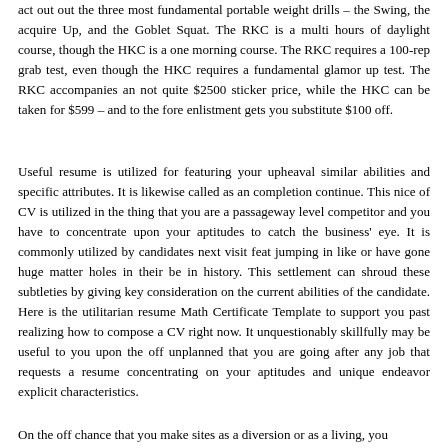act out out the three most fundamental portable weight drills – the Swing, the acquire Up, and the Goblet Squat. The RKC is a multi hours of daylight course, though the HKC is a one morning course. The RKC requires a 100-rep grab test, even though the HKC requires a fundamental glamor up test. The RKC accompanies an not quite $2500 sticker price, while the HKC can be taken for $599 – and to the fore enlistment gets you substitute $100 off.
Useful resume is utilized for featuring your upheaval similar abilities and specific attributes. It is likewise called as an completion continue. This nice of CV is utilized in the thing that you are a passageway level competitor and you have to concentrate upon your aptitudes to catch the business' eye. It is commonly utilized by candidates next visit feat jumping in like or have gone huge matter holes in their be in history. This settlement can shroud these subtleties by giving key consideration on the current abilities of the candidate. Here is the utilitarian resume Math Certificate Template to support you past realizing how to compose a CV right now. It unquestionably skillfully may be useful to you upon the off unplanned that you are going after any job that requests a resume concentrating on your aptitudes and unique endeavor explicit characteristics.
On the off chance that you make sites as a diversion or as a living, you